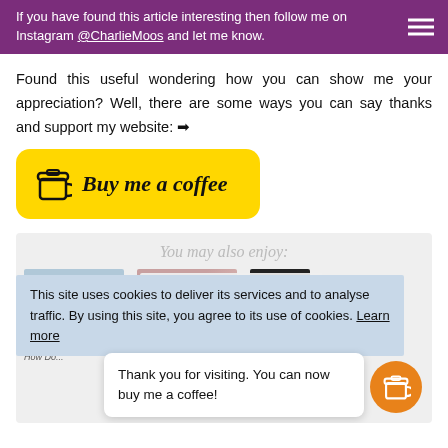If you have found this article interesting then follow me on Instagram @CharlieMoos and let me know.
Found this useful wondering how you can show me your appreciation? Well, there are some ways you can say thanks and support my website: ➡
[Figure (other): Yellow 'Buy me a coffee' button with coffee cup icon and italic script text]
[Figure (screenshot): Section titled 'You may also enjoy:' with article card thumbnails, overlaid by a cookie consent banner and a thank you popup with a floating orange coffee button]
This site uses cookies to deliver its services and to analyse traffic. By using this site, you agree to its use of cookies. Learn more
Thank you for visiting. You can now buy me a coffee!